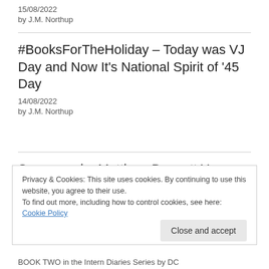15/08/2022
by J.M. Northup
#BooksForTheHoliday – Today was VJ Day and Now It's National Spirit of '45 Day
14/08/2022
by J.M. Northup
Snowman by Matthew Bennett Young
19/08/2022
by J.M. Northup
Privacy & Cookies: This site uses cookies. By continuing to use this website, you agree to their use.
To find out more, including how to control cookies, see here:
Cookie Policy
Close and accept
BOOK TWO in the Intern Diaries Series by DC